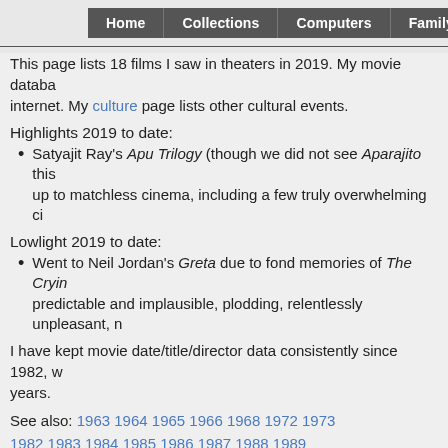Home | Collections | Computers | Family | Fav...
This page lists 18 films I saw in theaters in 2019. My movie databa... internet. My culture page lists other cultural events.
Highlights 2019 to date:
Satyajit Ray's Apu Trilogy (though we did not see Aparajito this... up to matchless cinema, including a few truly overwhelming ci...
Lowlight 2019 to date:
Went to Neil Jordan's Greta due to fond memories of The Cryin... predictable and implausible, plodding, relentlessly unpleasant, n...
I have kept movie date/title/director data consistently since 1982, w... years.
See also: 1963 1964 1965 1966 1968 1972 1973 1982 1983 1984 1985 1986 1987 1988 1989 1990 1991 1992 1993 1994 1995 1996 1997 1998 1999 2000 2001 2002 2003 2004 2005 2006 2007 2008 2009 2010 2011 2012 2013 2014 2015 2016 2017 2018 2019 2020 2021 2022 All
Click on a heading below to sort the list accordingly. Click on a titl...